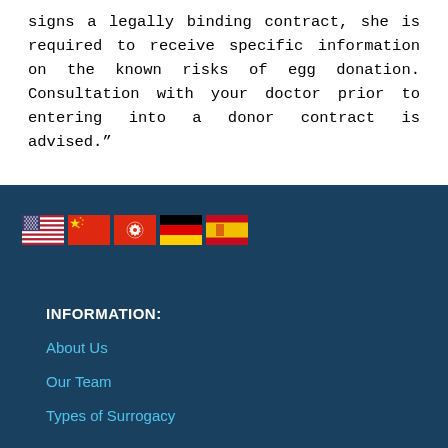signs a legally binding contract, she is required to receive specific information on the known risks of egg donation. Consultation with your doctor prior to entering into a donor contract is advised.”
[Figure (illustration): Row of five country flags: USA, China, Taiwan/Hong Kong, Germany, Spain]
INFORMATION:
About Us
Our Team
Types of Surrogacy